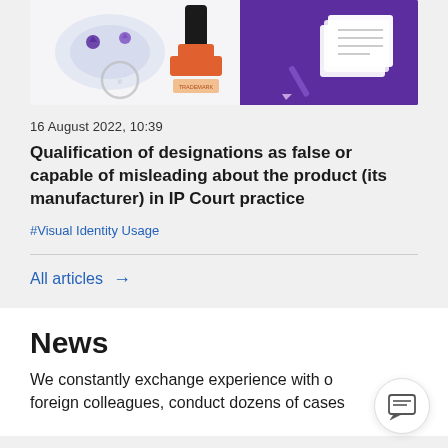[Figure (illustration): Illustration of IP/trademark concept: a map with location pins on left, an orange rubber stamp in the center, a 'TRADEMARK' label, a pen and stacked papers on the right, against a purple/white background.]
16 August 2022, 10:39
Qualification of designations as false or capable of misleading about the product (its manufacturer) in IP Court practice
#Visual Identity Usage
All articles →
News
We constantly exchange experience with our foreign colleagues, conduct dozens of cases